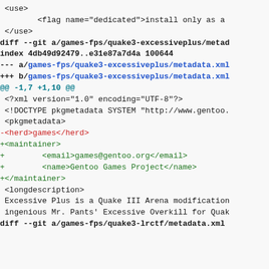<use>
        <flag name="dedicated">install only as a
 </use>
diff --git a/games-fps/quake3-excessiveplus/metad
index 4db49d92479..e31e87a7d4a 100644
--- a/games-fps/quake3-excessiveplus/metadata.xml
+++ b/games-fps/quake3-excessiveplus/metadata.xml
@@ -1,7 +1,10 @@
 <?xml version="1.0" encoding="UTF-8"?>
 <!DOCTYPE pkgmetadata SYSTEM "http://www.gentoo.
 <pkgmetadata>
-<herd>games</herd>
+<maintainer>
+        <email>games@gentoo.org</email>
+        <name>Gentoo Games Project</name>
+</maintainer>
 <longdescription>
 Excessive Plus is a Quake III Arena modification
 ingenious Mr. Pants' Excessive Overkill for Quak

diff --git a/games-fps/quake3-lrctf/metadata.xml